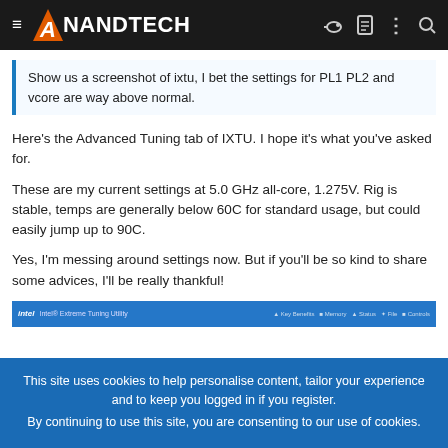AnandTech
Show us a screenshot of ixtu, I bet the settings for PL1 PL2 and vcore are way above normal.
Here's the Advanced Tuning tab of IXTU. I hope it's what you've asked for.
These are my current settings at 5.0 GHz all-core, 1.275V. Rig is stable, temps are generally below 60C for standard usage, but could easily jump up to 90C.
Yes, I'm messing around settings now. But if you'll be so kind to share some advices, I'll be really thankful!
[Figure (screenshot): Screenshot thumbnail of Intel Extreme Tuning Utility (IXTU) Advanced Tuning tab]
This site uses cookies to help personalise content, tailor your experience and to keep you logged in if you register.
By continuing to use this site, you are consenting to our use of cookies.